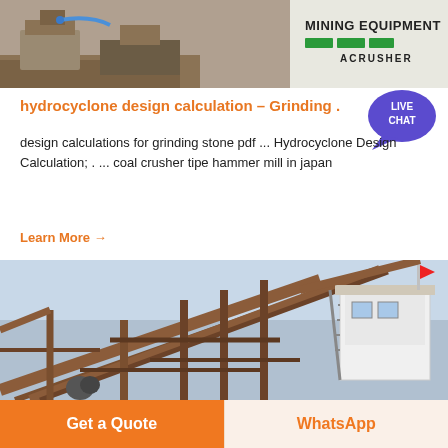[Figure (photo): Mining equipment photo showing industrial machinery with MINING EQUIPMENT ACRUSHER logo/branding visible on the right side]
hydrocyclone design calculation – Grinding .
design calculations for grinding stone pdf ... Hydrocyclone Design Calculation; . ... coal crusher tipe hammer mill in japan
Learn More →
[Figure (photo): Industrial mining/crushing plant with conveyor belts, steel framework structures, and a white building/control room visible in the background]
Get a Quote
WhatsApp